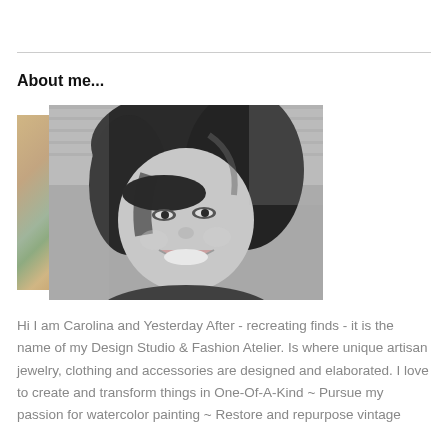About me...
[Figure (photo): Black and white photo of a smiling woman with dark hair against a brick wall background, with a decorative collage element on the left side in gold and green tones.]
Hi I am Carolina and Yesterday After - recreating finds - it is the name of my Design Studio & Fashion Atelier. Is where unique artisan jewelry, clothing and accessories are designed and elaborated. I love to create and transform things in One-Of-A-Kind ~ Pursue my passion for watercolor painting ~ Restore and repurpose vintage